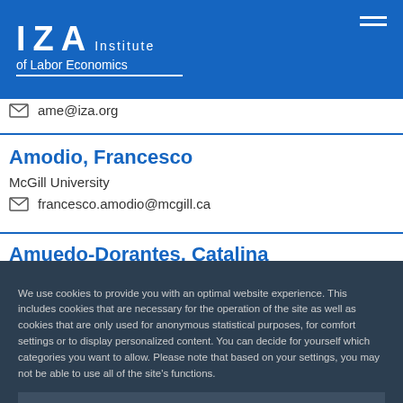IZA Institute of Labor Economics
ame@iza.org
Amodio, Francesco
McGill University
francesco.amodio@mcgill.ca
Amuedo-Dorantes, Catalina
We use cookies to provide you with an optimal website experience. This includes cookies that are necessary for the operation of the site as well as cookies that are only used for anonymous statistical purposes, for comfort settings or to display personalized content. You can decide for yourself which categories you want to allow. Please note that based on your settings, you may not be able to use all of the site's functions.
Configure consent
Accept all
Andalon, Mabel